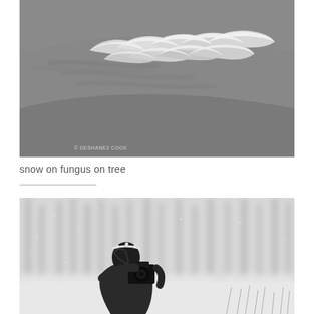[Figure (photo): Close-up black and white photograph of snow-covered bracket fungus growing on a tree log, with shallow depth of field and bokeh background showing leaves on the ground.]
snow on fungus on tree
[Figure (photo): Black and white photograph of a person holding a camera up to photograph in a snowy winter forest, trees visible in the blurred background.]